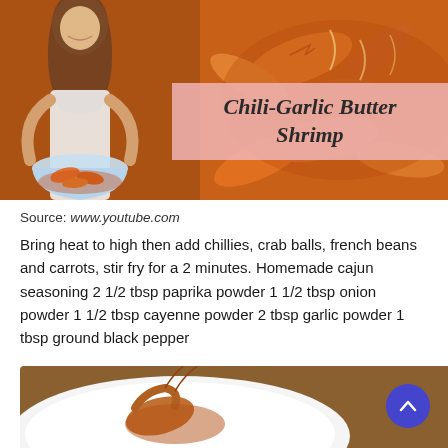[Figure (photo): Food blog thumbnail showing a woman holding a bowl of shrimp. Background is a large bowl of chili-garlic butter shrimp in orange sauce. A pink semi-transparent banner reads 'Chili-Garlic Butter Shrimp' in decorative italic font.]
Source: www.youtube.com
Bring heat to high then add chillies, crab balls, french beans and carrots, stir fry for a 2 minutes. Homemade cajun seasoning 2 1/2 tbsp paprika powder 1 1/2 tbsp onion powder 1 1/2 tbsp cayenne powder 2 tbsp garlic powder 1 tbsp ground black pepper
[Figure (photo): Bottom portion of a food photo showing shrimp on a white plate on a dark background, partially visible.]